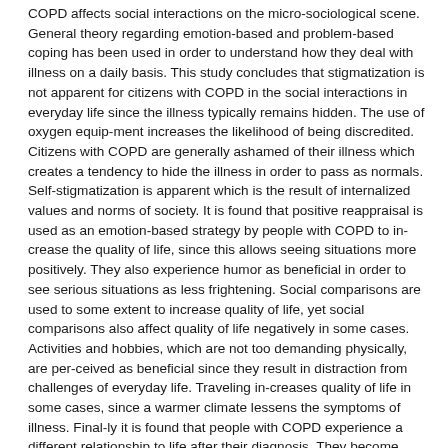COPD affects social interactions on the micro-sociological scene. General theory regarding emotion-based and problem-based coping has been used in order to understand how they deal with illness on a daily basis. This study concludes that stigmatization is not apparent for citizens with COPD in the social interactions in everyday life since the illness typically remains hidden. The use of oxygen equip-ment increases the likelihood of being discredited. Citizens with COPD are generally ashamed of their illness which creates a tendency to hide the illness in order to pass as normals. Self-stigmatization is apparent which is the result of internalized values and norms of society. It is found that positive reappraisal is used as an emotion-based strategy by people with COPD to in-crease the quality of life, since this allows seeing situations more positively. They also experience humor as beneficial in order to see serious situations as less frightening. Social comparisons are used to some extent to increase quality of life, yet social comparisons also affect quality of life negatively in some cases. Activities and hobbies, which are not too demanding physically, are per-ceived as beneficial since they result in distraction from challenges of everyday life. Traveling in-creases quality of life in some cases, since a warmer climate lessens the symptoms of illness. Final-ly it is found that people with COPD experience a different relationship to life after their diagnosis. They become more likely not to delay experiences because they perceive their future as increas-ingly uncertain. Altruistic actions and freedom are found to have importance for their quality of life and happiness.
Language	Danish